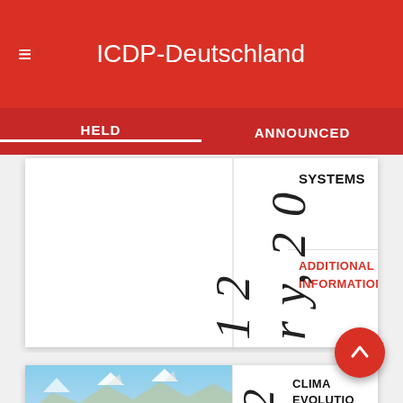ICDP-Deutschland
HELD
ANNOUNCED
r y, 2 0 1 2
SYSTEMS
ADDITIONAL INFORMATION
[Figure (photo): Satellite/aerial image of mountain range terrain, showing ridges, valleys and snow-capped peaks, likely Central Asia]
1 2
CLIMATE EVOLUTION CENTRAL ASIA